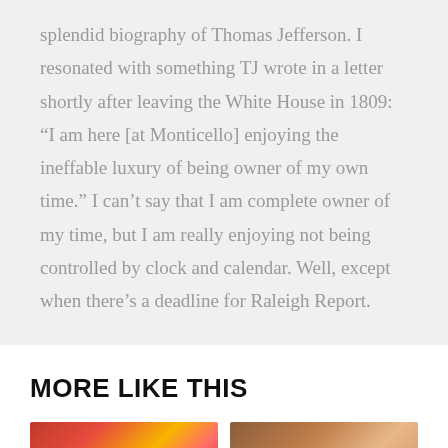splendid biography of Thomas Jefferson. I resonated with something TJ wrote in a letter shortly after leaving the White House in 1809: “I am here [at Monticello] enjoying the ineffable luxury of being owner of my own time.” I can’t say that I am complete owner of my time, but I am really enjoying not being controlled by clock and calendar. Well, except when there’s a deadline for Raleigh Report.
MORE LIKE THIS
[Figure (photo): Partial thumbnail image on left, appears to show red and colorful food or candy]
[Figure (photo): Partial thumbnail image on right, appears to show brown/warm toned food or object]